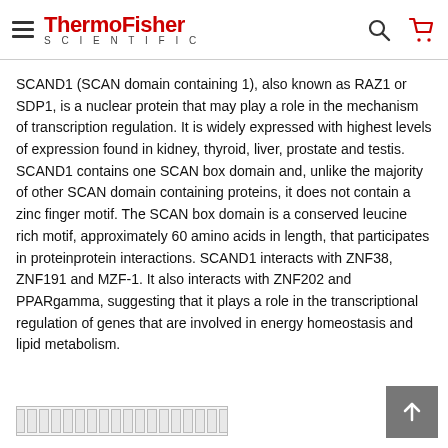ThermoFisher SCIENTIFIC [hamburger menu, search, cart icons]
SCAND1 (SCAN domain containing 1), also known as RAZ1 or SDP1, is a nuclear protein that may play a role in the mechanism of transcription regulation. It is widely expressed with highest levels of expression found in kidney, thyroid, liver, prostate and testis. SCAND1 contains one SCAN box domain and, unlike the majority of other SCAN domain containing proteins, it does not contain a zinc finger motif. The SCAN box domain is a conserved leucine rich motif, approximately 60 amino acids in length, that participates in proteinprotein interactions. SCAND1 interacts with ZNF38, ZNF191 and MZF-1. It also interacts with ZNF202 and PPARgamma, suggesting that it plays a role in the transcriptional regulation of genes that are involved in energy homeostasis and lipid metabolism.
[Figure (other): Placeholder image strip with small bordered cells, partially visible at bottom of page]